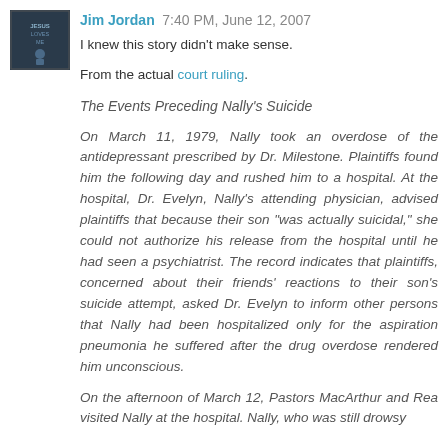[Figure (photo): Square avatar/profile image with dark background showing text 'JESUS LOVES ME' with a person's silhouette]
Jim Jordan  7:40 PM, June 12, 2007
I knew this story didn't make sense.
From the actual court ruling.
The Events Preceding Nally's Suicide
On March 11, 1979, Nally took an overdose of the antidepressant prescribed by Dr. Milestone. Plaintiffs found him the following day and rushed him to a hospital. At the hospital, Dr. Evelyn, Nally's attending physician, advised plaintiffs that because their son "was actually suicidal," she could not authorize his release from the hospital until he had seen a psychiatrist. The record indicates that plaintiffs, concerned about their friends' reactions to their son's suicide attempt, asked Dr. Evelyn to inform other persons that Nally had been hospitalized only for the aspiration pneumonia he suffered after the drug overdose rendered him unconscious.
On the afternoon of March 12, Pastors MacArthur and Rea visited Nally at the hospital. Nally, who was still drowsy